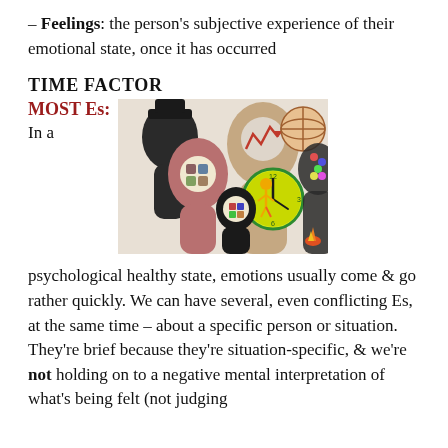– Feelings: the person's subjective experience of their emotional state, once it has occurred
TIME FACTOR
MOST Es:
In a
[Figure (illustration): Colorful illustration showing multiple human head silhouettes with visual representations of thought, emotion, clocks, and puzzles — depicting the concept of emotions and time.]
psychological healthy state, emotions usually come & go rather quickly. We can have several, even conflicting Es, at the same time – about a specific person or situation.
They're brief because they're situation-specific, & we're not holding on to a negative mental interpretation of what's being felt (not judging ourselves for it, for ex.) (cont…)